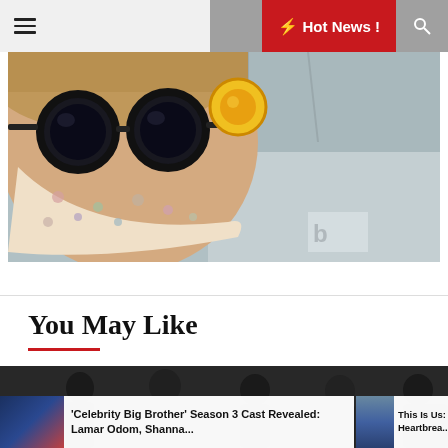Hot News ! [navigation bar with hamburger menu, moon icon, Hot News! button, search icon]
[Figure (photo): Close-up photo of a person wearing large round dark sunglasses, a floral face mask, and yellow ear protection/earmuffs, photographed from a low angle inside what appears to be a train or aircraft cabin.]
You May Like
[Figure (photo): Black and white group photo of several men, appearing to be a music band.]
'Celebrity Big Brother' Season 3 Cast Revealed: Lamar Odom, Shanna...
This Is Us: Heartbrea...